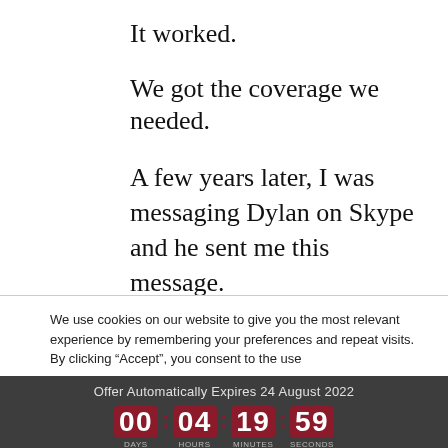It worked.
We got the coverage we needed.
A few years later, I was messaging Dylan on Skype and he sent me this message.
We use cookies on our website to give you the most relevant experience by remembering your preferences and repeat visits. By clicking “Accept”, you consent to the use
Offer Automatically Expires 24 August 2022
00:04:19:59 DAYS HOURS MINUTES SECONDS